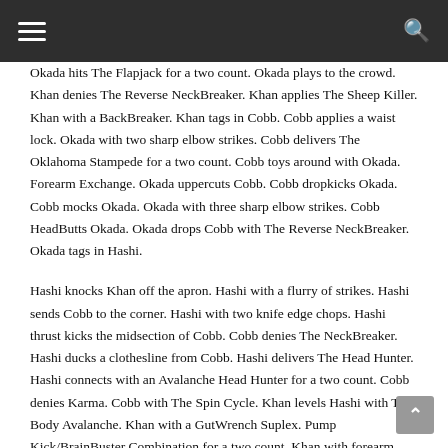Okada hits The Flapjack for a two count. Okada plays to the crowd. Khan denies The Reverse NeckBreaker. Khan applies The Sheep Killer. Khan with a BackBreaker. Khan tags in Cobb. Cobb applies a waist lock. Okada with two sharp elbow strikes. Cobb delivers The Oklahoma Stampede for a two count. Cobb toys around with Okada. Forearm Exchange. Okada uppercuts Cobb. Cobb dropkicks Okada. Cobb mocks Okada. Okada with three sharp elbow strikes. Cobb HeadButts Okada. Okada drops Cobb with The Reverse NeckBreaker. Okada tags in Hashi.
Hashi knocks Khan off the apron. Hashi with a flurry of strikes. Hashi sends Cobb to the corner. Hashi with two knife edge chops. Hashi thrust kicks the midsection of Cobb. Cobb denies The NeckBreaker. Hashi ducks a clothesline from Cobb. Hashi delivers The Head Hunter. Hashi connects with an Avalanche Head Hunter for a two count. Cobb denies Karma. Cobb with The Spin Cycle. Khan levels Hashi with The Body Avalanche. Khan with a GutWrench Suplex. Pump Kick/BrainBuster Combination for a two count. Khan with forearm shivers